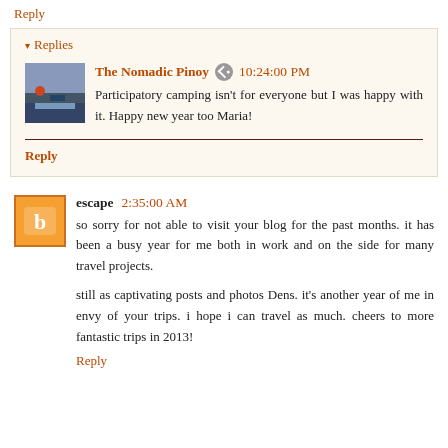Reply
▾ Replies
The Nomadic Pinoy 10:24:00 PM
Participatory camping isn't for everyone but I was happy with it. Happy new year too Maria!
Reply
escape 2:35:00 AM
so sorry for not able to visit your blog for the past months. it has been a busy year for me both in work and on the side for many travel projects.
still as captivating posts and photos Dens. it's another year of me in envy of your trips. i hope i can travel as much. cheers to more fantastic trips in 2013!
Reply